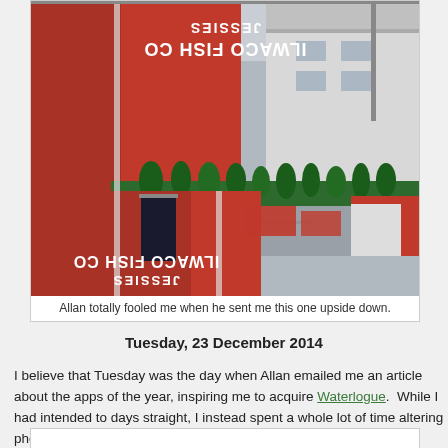[Figure (photo): Street view photo of Jessies Ilwaco Fish Co building shown upside down — red corrugated metal warehouse with white text reading JESSIES / ILWACO FISH CO mirrored/inverted, plus adjacent white buildings and parking area]
Allan totally fooled me when he sent me this one upside down.
Tuesday, 23 December 2014
I believe that Tuesday was the day when Allan emailed me an article about the apps of the year, inspiring me to acquire Waterlogue.  While I had intended to days straight, I instead spent a whole lot of time altering photos with its one cli